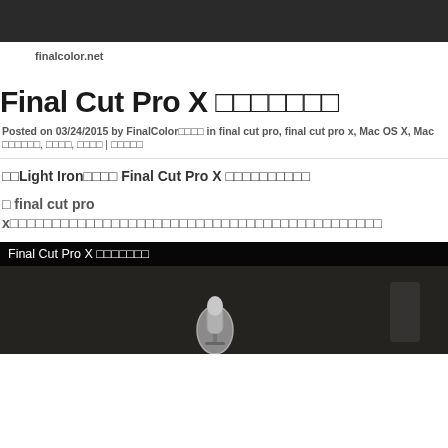[Figure (photo): Dark header image, partial photo at top of page]
finalcolor.net
Final Cut Pro X
Posted on 03/24/2015 by FinalColor　　　 in final cut pro, final cut pro x, Mac OS X, Mac　　　　　,　　　　,　　　　 |
Light Iron　　　　 Final Cut Pro X
final cut pro x
[Figure (screenshot): Video embed with dark background showing 'Final Cut Pro X　　　　　　　' title bar and a microphone image below]